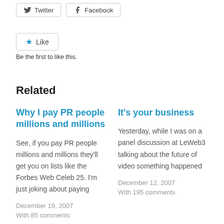[Figure (other): Twitter and Facebook share buttons]
[Figure (other): Like button with star icon]
Be the first to like this.
Related
Why I pay PR people millions and millions
See, if you pay PR people millions and millions they'll get you on lists like the Forbes Web Celeb 25. I'm just joking about paying
December 19, 2007
With 85 comments
It's your business
Yesterday, while I was on a panel discussion at LeWeb3 talking about the future of video something happened
December 12, 2007
With 195 comments